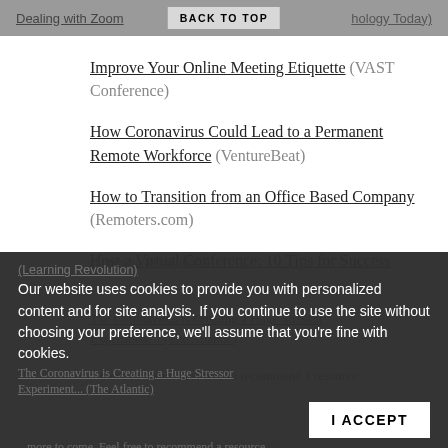Dealing with Zoom ... (Psychology Today) | BACK TO TOP
Improve Your Online Meeting Etiquette (VAST Conference)
How Coronavirus Could Lead to a Permanent Remote Workforce (VentureBeat)
How to Transition from an Office Based Company (Remoters.com)
Host a Virtual Conference: 10 Tips for Success (Learning Revolution)
The Coronavirus is Creating a Huge Stressor Experiment... (The Atlantic)
...more to come.  Feel free to recommend a resource
Our website uses cookies to provide you with personalized content and for site analysis. If you continue to use the site without choosing your preference, we'll assume that you're fine with cookies.
I ACCEPT